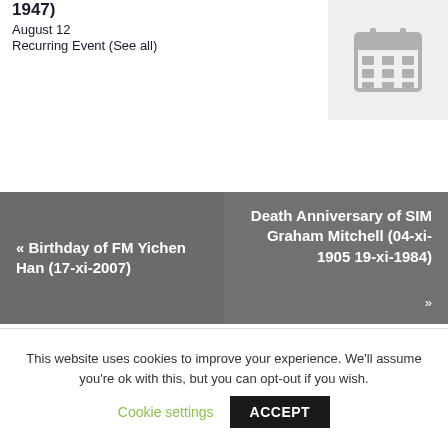1947)
August 12
Recurring Event (See all)
[Figure (illustration): Gray calendar icon on light gray background]
« Birthday of FM Yichen Han (17-xi-2007)
Death Anniversary of SIM Graham Mitchell (04-xi-1905 19-xi-1984) »
This website uses cookies to improve your experience. We'll assume you're ok with this, but you can opt-out if you wish.
Cookie settings
ACCEPT